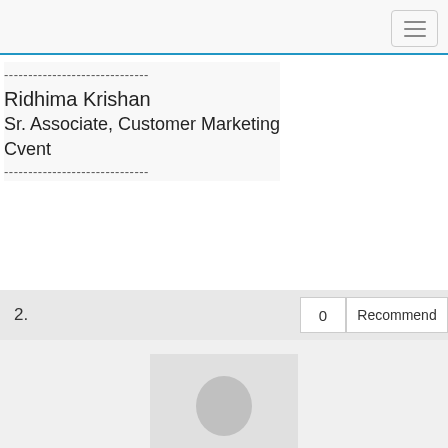Navigation menu button (hamburger icon)
------------------------------
Ridhima Krishan
Sr. Associate, Customer Marketing
Cvent
------------------------------
2.	0	Recommend
[Figure (photo): Default user profile silhouette avatar placeholder image]
Community MVP